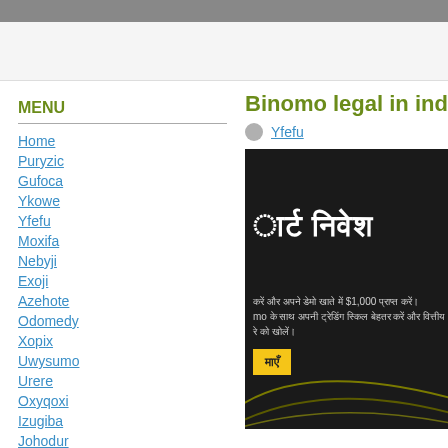MENU
Home
Puryzic
Gufoca
Ykowe
Yfefu
Moxifa
Nebyji
Exoji
Azehote
Odomedy
Xopix
Uwysumo
Urere
Oxyqoxi
Izugiba
Johodur
Xecymid
Binomo legal in india
Yfefu
[Figure (screenshot): Dark banner image with Hindi text showing 'स्मार्ट निवेश' (Smart Investment) and partial Hindi text about demo account with $1,000, a yellow button, and decorative curves on dark background.]